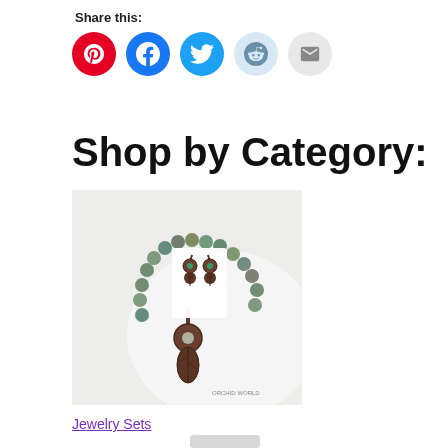Share this:
[Figure (infographic): Social share buttons: Pinterest (red), Facebook (blue), Twitter (blue), Reddit (light blue), Email (grey)]
Shop by Category:
[Figure (photo): Jewelry set showing a beaded necklace with copper and stone pendant and matching earrings on a white display stand. Orchid logo visible.]
Jewelry Sets